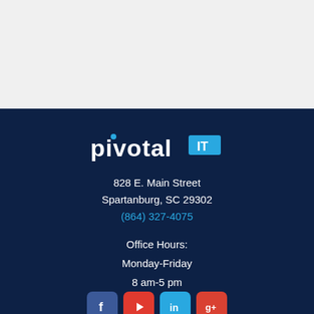[Figure (logo): Pivotal IT logo — white text 'pivotal' with a blue dot on the letter i, followed by a bright blue box with white text 'IT']
828 E. Main Street
Spartanburg, SC 29302
(864) 327-4075
Office Hours:
Monday-Friday
8 am-5 pm
[Figure (infographic): Row of four social media icon buttons: Facebook (blue), YouTube (red), LinkedIn (light blue), Google+ (red)]